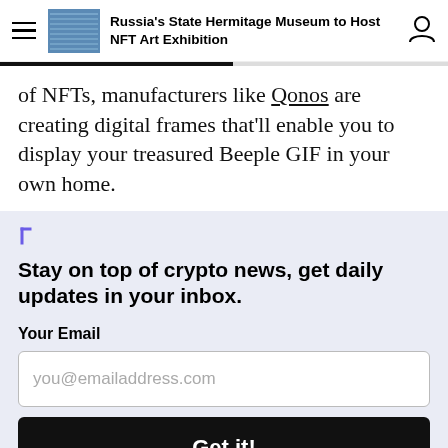Russia's State Hermitage Museum to Host NFT Art Exhibition
of NFTs, manufacturers like Qonos are creating digital frames that'll enable you to display your treasured Beeple GIF in your own home.
Stay on top of crypto news, get daily updates in your inbox.
Your Email
you@emailaddress.com
Get it!